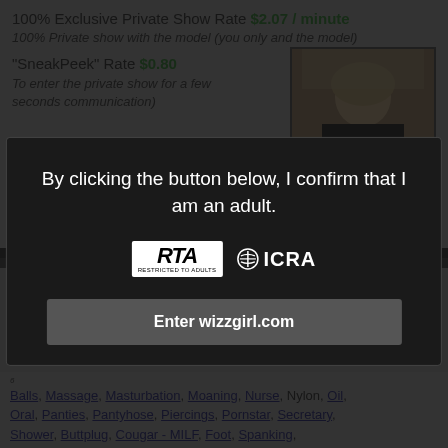100% Exclusive Private Show Rate $2.07 / minute
100% Private show with the model (you only and the model)
"SneakPeek" Rate $0.80
To enter the private show for a few seconds communication)
[Figure (photo): Photo of a blonde woman in a dark top]
Bonus
To give a bonus if you are a fan of MatureErotica:
By clicking the button below, I confirm that I am an adult.
[Figure (logo): RTA and ICRA logos]
Enter wizzgirl.com
Balls, Massage, Masturbation, Moaning, Nurse, Nylon, Oil, Oral, Panties, Pantyhose, Piercings, Pornstar, Secretary, Shower, Buttplug, Cougar - MILF, Foot, Spanking,